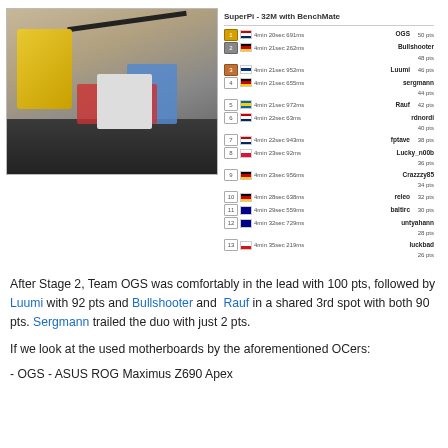[Figure (photo): Photo of overclocking hardware setup on a bench with cooling equipment, cables, and electronics, alongside a SuperPi 32M BenchMate leaderboard screenshot showing 13 ranked entries with times and points.]
After Stage 2, Team OGS was comfortably in the lead with 100 pts, followed by Luumi with 92 pts and Bullshooter and Rauf in a shared 3rd spot with both 90 pts. Sergmann trailed the duo with just 2 pts.
If we look at the used motherboards by the aforementioned OCers:
- OGS - ASUS ROG Maximus Z690 Apex